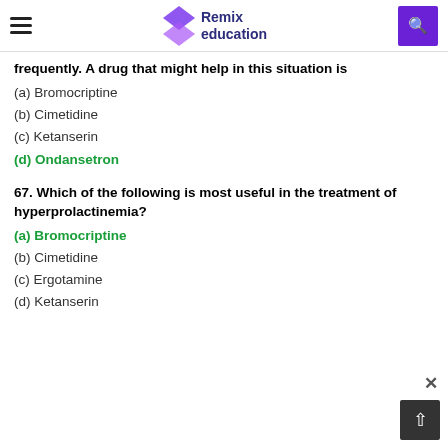Remix education
frequently. A drug that might help in this situation is
(a) Bromocriptine
(b) Cimetidine
(c) Ketanserin
(d) Ondansetron
67. Which of the following is most useful in the treatment of hyperprolactinemia?
(a) Bromocriptine
(b) Cimetidine
(c) Ergotamine
(d) Ketanserin